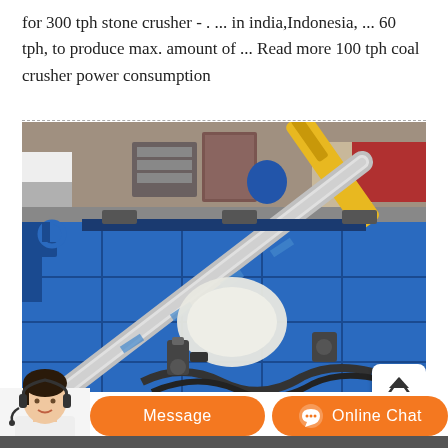for 300 tph stone crusher - . ... in india,Indonesia, ... 60 tph, to produce max. amount of ... Read more 100 tph coal crusher power consumption
[Figure (photo): Close-up photo of a large blue industrial machine (crusher/press) with hydraulic cylinders, hoses, and mechanical components visible. Workers visible in background in a workshop setting. A white bag/package sits in the machine's interior. A yellow hydraulic cylinder extends diagonally. TOP navigation button overlay visible.]